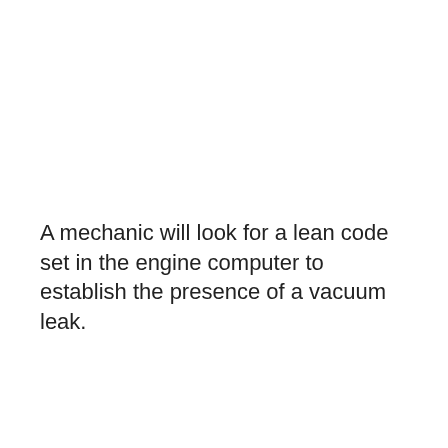A mechanic will look for a lean code set in the engine computer to establish the presence of a vacuum leak.